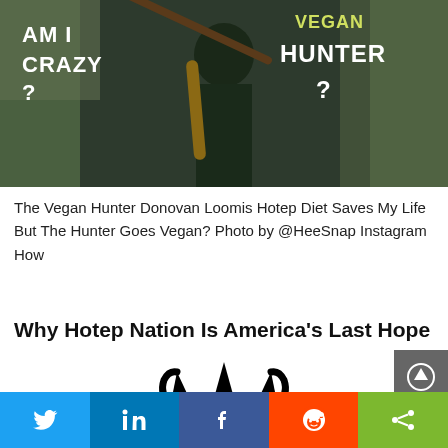[Figure (photo): Photo of a man holding a rifle/musket with text overlay reading 'AM I CRAZY?' on the left and 'VEGAN HUNTER?' on the right]
The Vegan Hunter Donovan Loomis Hotep Diet Saves My Life But The Hunter Goes Vegan? Photo by @HeeSnap Instagram How
Why Hotep Nation Is America's Last Hope
[Figure (logo): Hotep Nation logo - a stylized crown with letters HN]
Twitter | LinkedIn | Facebook | Reddit | Share